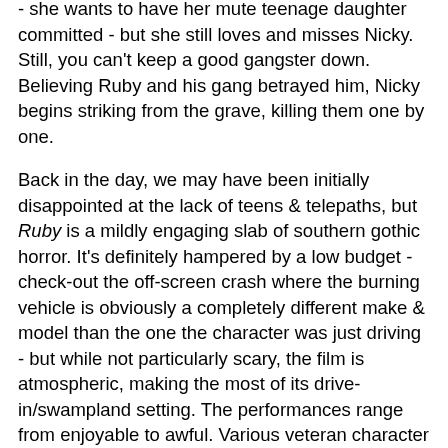- she wants to have her mute teenage daughter committed - but she still loves and misses Nicky. Still, you can't keep a good gangster down. Believing Ruby and his gang betrayed him, Nicky begins striking from the grave, killing them one by one.
Back in the day, we may have been initially disappointed at the lack of teens & telepaths, but Ruby is a mildly engaging slab of southern gothic horror. It's definitely hampered by a low budget - check-out the off-screen crash where the burning vehicle is obviously a completely different make & model than the one the character was just driving - but while not particularly scary, the film is atmospheric, making the most of its drive-in/swampland setting. The performances range from enjoyable to awful. Various veteran character actors earn their paychecks (and Laurie is amusingly over-the-top), while the younger cast of no-names would fit right in with the stars of Satan's Cheerleaders.
40 years later, Ruby may not have aged as well as other classic horrors of the 70s, but for those roped into checking it out at their local drive-in back then, it's a nice little...